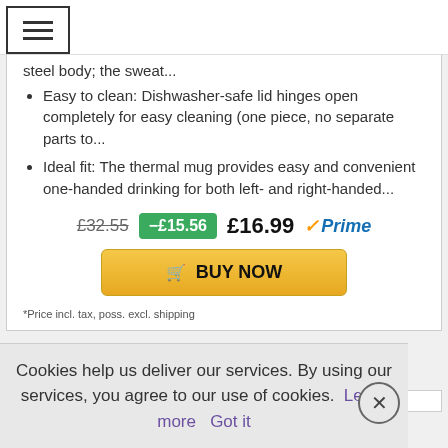[Figure (screenshot): Hamburger menu icon (three horizontal lines) inside a bordered box in the top-left corner]
steel body; the sweat...
Easy to clean: Dishwasher-safe lid hinges open completely for easy cleaning (one piece, no separate parts to...
Ideal fit: The thermal mug provides easy and convenient one-handed drinking for both left- and right-handed...
£32.55  -£15.56  £16.99 ✓Prime
BUY NOW
*Price incl. tax, poss. excl. shipping
Cookies help us deliver our services. By using our services, you agree to our use of cookies. Learn more  Got it